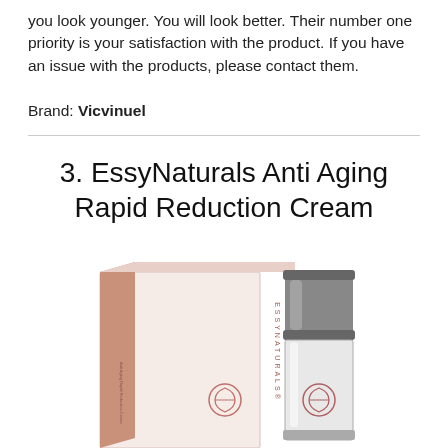you look younger. You will look better. Their number one priority is your satisfaction with the product. If you have an issue with the products, please contact them.
Brand: Vicvinuel
3. EssyNaturals Anti Aging Rapid Reduction Cream
[Figure (photo): Product photo showing EssyNaturals branded box (pink/rose) and a silver cream applicator/stick on a white background.]